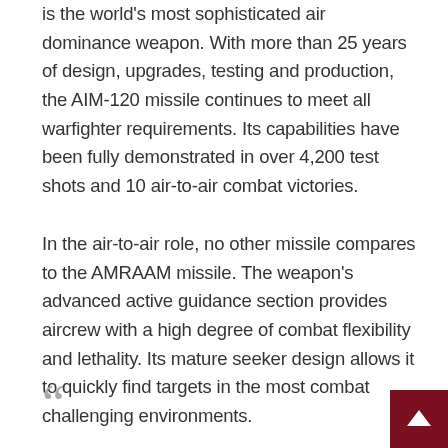is the world's most sophisticated air dominance weapon. With more than 25 years of design, upgrades, testing and production, the AIM-120 missile continues to meet all warfighter requirements. Its capabilities have been fully demonstrated in over 4,200 test shots and 10 air-to-air combat victories.
In the air-to-air role, no other missile compares to the AMRAAM missile. The weapon's advanced active guidance section provides aircrew with a high degree of combat flexibility and lethality. Its mature seeker design allows it to quickly find targets in the most combat challenging environments.